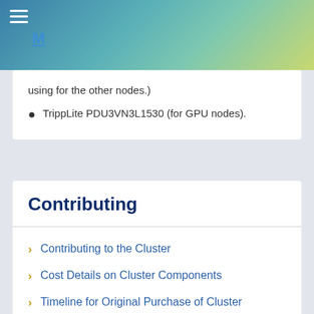M
using for the other nodes.)
TrippLite PDU3VN3L1530 (for GPU nodes).
Contributing
Contributing to the Cluster
Cost Details on Cluster Components
Timeline for Original Purchase of Cluster